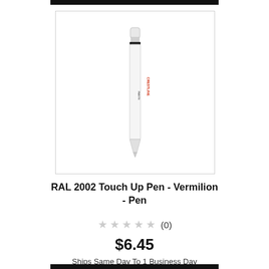[Figure (photo): A white touch-up paint pen with red and black text branding (Crestline Paints) on the barrel, shown vertically against a white background inside a light-bordered product image box.]
RAL 2002 Touch Up Pen - Vermilion - Pen
★★★★★ (0)
$6.45
Ships Same Day To 1 Business Day